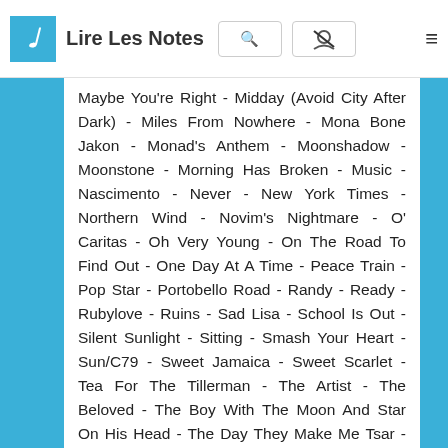Lire Les Notes
Maybe You're Right - Midday (Avoid City After Dark) - Miles From Nowhere - Mona Bone Jakon - Monad's Anthem - Moonshadow - Moonstone - Morning Has Broken - Music - Nascimento - Never - New York Times - Northern Wind - Novim's Nightmare - O' Caritas - Oh Very Young - On The Road To Find Out - One Day At A Time - Peace Train - Pop Star - Portobello Road - Randy - Ready - Rubylove - Ruins - Sad Lisa - School Is Out - Silent Sunlight - Sitting - Smash Your Heart - Sun/C79 - Sweet Jamaica - Sweet Scarlet - Tea For The Tillerman - The Artist - The Beloved - The Boy With The Moon And Star On His Head - The Day They Make Me Tsar - The First Cut Is The Deepest - The Hurt - The Joke - The Laughing Apple - The Tramp - The View From The Top - The Wind - Threat - Bounce - Time - To bb - Tr...